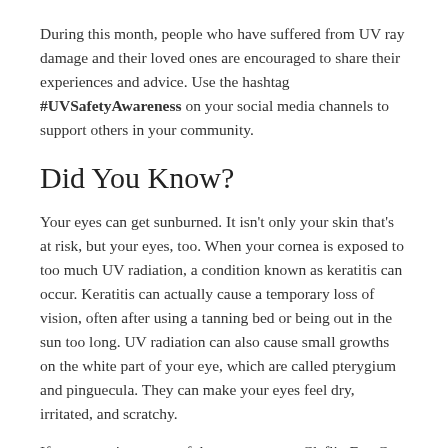During this month, people who have suffered from UV ray damage and their loved ones are encouraged to share their experiences and advice. Use the hashtag #UVSafetyAwareness on your social media channels to support others in your community.
Did You Know?
Your eyes can get sunburned. It isn't only your skin that's at risk, but your eyes, too. When your cornea is exposed to too much UV radiation, a condition known as keratitis can occur. Keratitis can actually cause a temporary loss of vision, often after using a tanning bed or being out in the sun too long. UV radiation can also cause small growths on the white part of your eye, which are called pterygium and pinguecula. They can make your eyes feel dry, irritated, and scratchy.
If you experience any of these symptoms, Claflin Eye Care can help.
UV ray exposure is a risk factor for eye conditions and